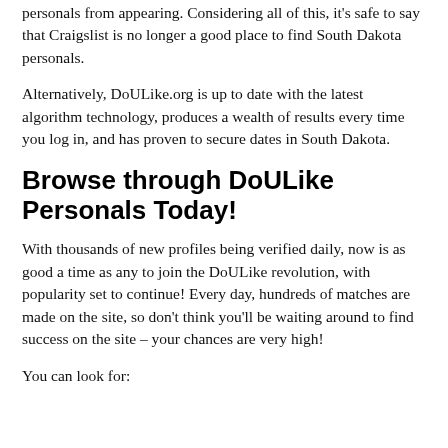personals from appearing. Considering all of this, it's safe to say that Craigslist is no longer a good place to find South Dakota personals.
Alternatively, DoULike.org is up to date with the latest algorithm technology, produces a wealth of results every time you log in, and has proven to secure dates in South Dakota.
Browse through DoULike Personals Today!
With thousands of new profiles being verified daily, now is as good a time as any to join the DoULike revolution, with popularity set to continue! Every day, hundreds of matches are made on the site, so don't think you'll be waiting around to find success on the site – your chances are very high!
You can look for: